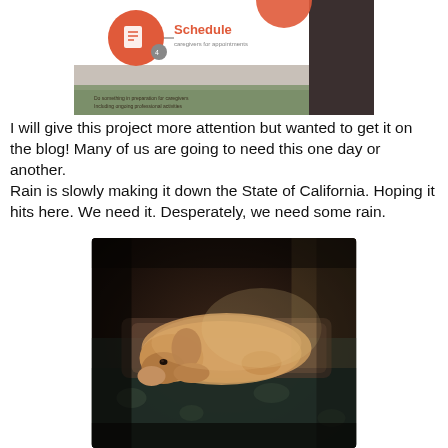[Figure (screenshot): Screenshot of a scheduling app interface showing an orange circle with a document icon, the word 'Schedule' in orange text with subtitle 'caregivers for appointments', and a nature/outdoor scene at the bottom with small text.]
I will give this project more attention but wanted to get it on the blog! Many of us are going to need this one day or another.
Rain is slowly making it down the State of California. Hoping it hits here. We need it. Desperately, we need some rain.
[Figure (photo): A dog (golden-colored, appears to be a golden retriever or similar breed) lying on a floral-patterned couch or chair, resting with its head down in a dim indoor setting.]